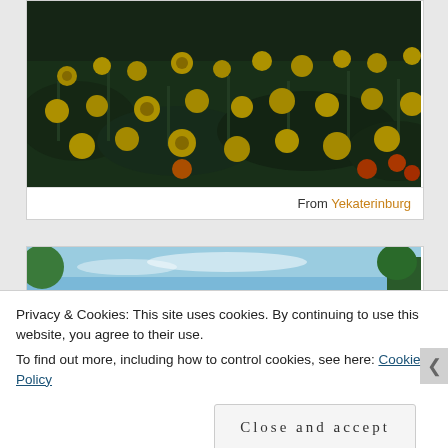[Figure (photo): A field of yellow marigold flowers with dark green foliage, photographed in low light conditions. Some orange/red flowers visible in the lower right.]
From Yekaterinburg
[Figure (photo): A partial view of a landscape with blue sky and trees.]
Privacy & Cookies: This site uses cookies. By continuing to use this website, you agree to their use.
To find out more, including how to control cookies, see here: Cookie Policy
Close and accept